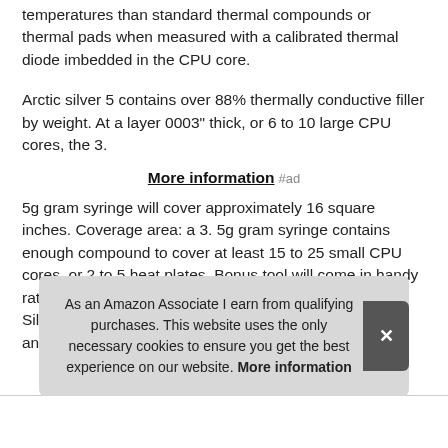temperatures than standard thermal compounds or thermal pads when measured with a calibrated thermal diode imbedded in the CPU core.
Arctic silver 5 contains over 88% thermally conductive filler by weight. At a layer 0003" thick, or 6 to 10 large CPU cores, the 3.
More information #ad
5g gram syringe will cover approximately 16 square inches. Coverage area: a 3. 5g gram syringe contains enough compound to cover at least 15 to 25 small CPU cores, or 2 to 5 heat plates. Bonus tool will come in handy rather then gett Silver and
As an Amazon Associate I earn from qualifying purchases. This website uses the only necessary cookies to ensure you get the best experience on our website. More information